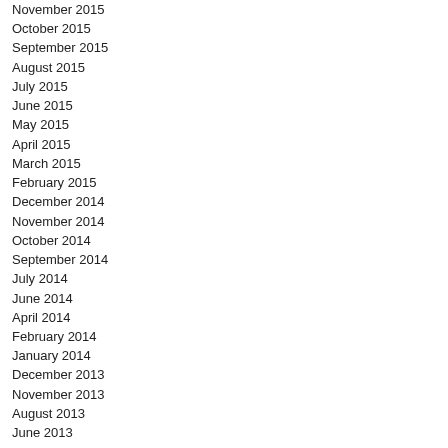November 2015
October 2015
September 2015
August 2015
July 2015
June 2015
May 2015
April 2015
March 2015
February 2015
December 2014
November 2014
October 2014
September 2014
July 2014
June 2014
April 2014
February 2014
January 2014
December 2013
November 2013
August 2013
June 2013